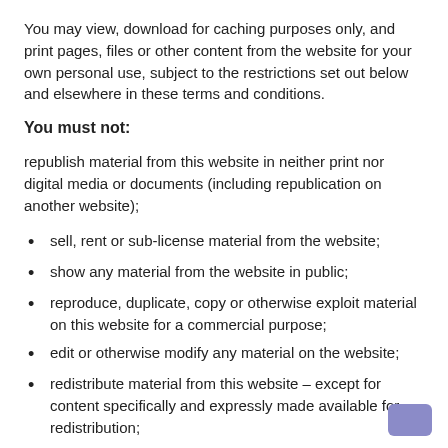You may view, download for caching purposes only, and print pages, files or other content from the website for your own personal use, subject to the restrictions set out below and elsewhere in these terms and conditions.
You must not:
republish material from this website in neither print nor digital media or documents (including republication on another website);
sell, rent or sub-license material from the website;
show any material from the website in public;
reproduce, duplicate, copy or otherwise exploit material on this website for a commercial purpose;
edit or otherwise modify any material on the website;
redistribute material from this website – except for content specifically and expressly made available for redistribution;